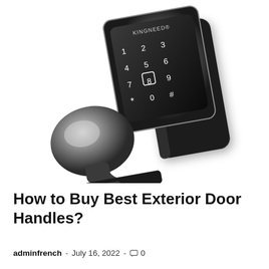[Figure (photo): A modern electronic smart door lock/handle with a black keypad showing digits 0-9, *, #, a fingerprint symbol, and a silver metallic door knob, branded KINGNEED, photographed on a white background at an angle.]
How to Buy Best Exterior Door Handles?
adminfrench  -  July 16, 2022  -  0